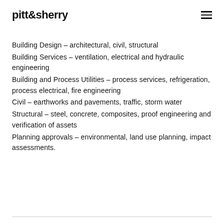pitt&sherry
Building Design – architectural, civil, structural
Building Services – ventilation, electrical and hydraulic engineering
Building and Process Utilities – process services, refrigeration, process electrical, fire engineering
Civil – earthworks and pavements, traffic, storm water
Structural – steel, concrete, composites, proof engineering and verification of assets
Planning approvals – environmental, land use planning, impact assessments.